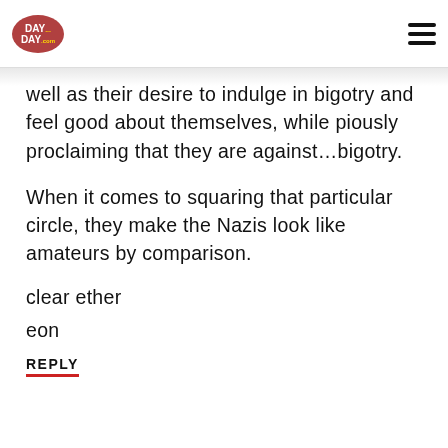DAY DAY.com [logo] [hamburger menu]
well as their desire to indulge in bigotry and feel good about themselves, while piously proclaiming that they are against…bigotry.
When it comes to squaring that particular circle, they make the Nazis look like amateurs by comparison.
clear ether
eon
REPLY